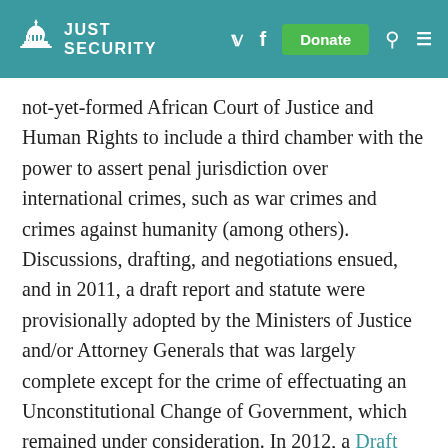JUST SECURITY
not-yet-formed African Court of Justice and Human Rights to include a third chamber with the power to assert penal jurisdiction over international crimes, such as war crimes and crimes against humanity (among others). Discussions, drafting, and negotiations ensued, and in 2011, a draft report and statute were provisionally adopted by the Ministers of Justice and/or Attorney Generals that was largely complete except for the crime of effectuating an Unconstitutional Change of Government, which remained under consideration. In 2012, a Draft Protocol on